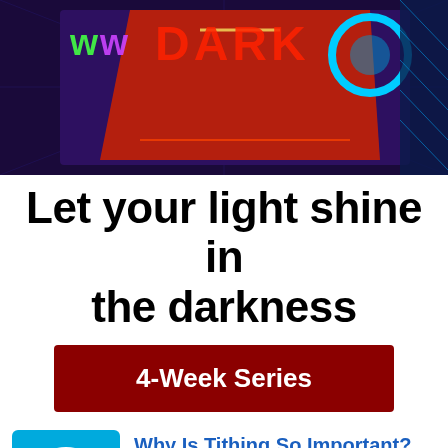[Figure (photo): Colorful neon-lit dark box/package graphic with bright lights and geometric shapes on a dark background, partially cropped at top]
Let your light shine in the darkness
4-Week Series
[Figure (illustration): Blue square icon with a white speech bubble containing a smiley face]
Why Is Tithing So Important?
Contributed by Mark Schaeufele on Sep 23, 2010